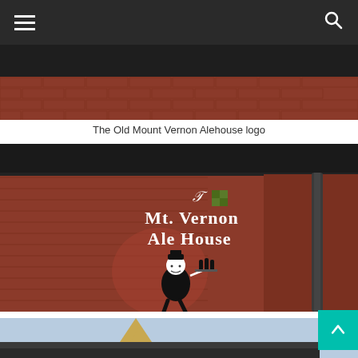Navigation bar with hamburger menu and search icon
[Figure (photo): Top portion of a dark building facade with brick and dark awning, partially cropped]
The Old Mount Vernon Alehouse logo
[Figure (photo): Exterior wall of a red brick building with painted logo reading 'The Mt. Vernon Ale House' in gothic lettering, with a cartoon waiter character carrying bottles]
[Figure (photo): Bottom partial view of another building, partially cropped at bottom of page]